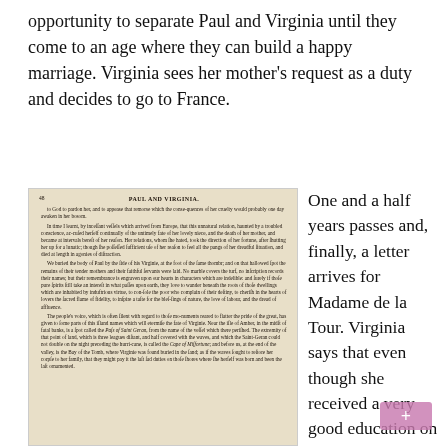opportunity to separate Paul and Virginia until they come to an age where they can build a happy marriage. Virginia sees her mother's request as a duty and decides to go to France.
[Figure (photo): Photograph of an aged book page showing page 48 of 'Paul and Virginia', with dense small-print text in an old typeset style on yellowed paper.]
One and a half years passes and, finally, a letter arrives for Madame de la Tour. Virginia says that even though she received a very good education on various